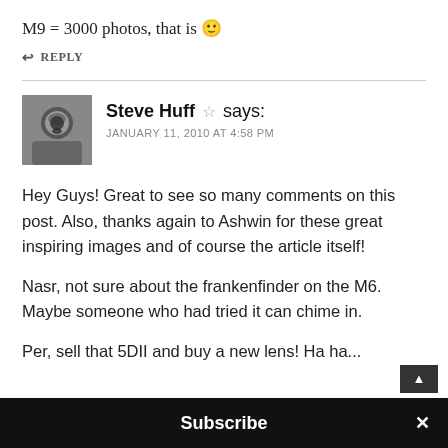M9 = 3000 photos, that is 🙂
↩ REPLY
Steve Huff ☆ says:
JANUARY 11, 2010 AT 4:58 PM
[Figure (photo): Black and white avatar photo of Steve Huff holding a camera]
Hey Guys! Great to see so many comments on this post. Also, thanks again to Ashwin for these great inspiring images and of course the article itself!
Nasr, not sure about the frankenfinder on the M6. Maybe someone who had tried it can chime in.
Per, sell that 5DII and buy a new lens! Ha ha...
Subscribe ×